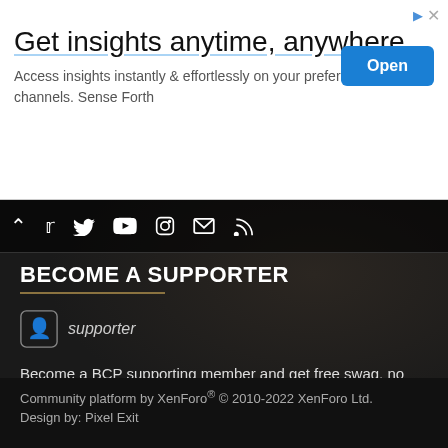[Figure (screenshot): Advertisement banner: 'Get insights anytime, anywhere' with Open button]
Get insights anytime, anywhere
Access insights instantly & effortlessly on your preferred messaging channels. Sense Forth
[Figure (infographic): Social media icon bar with chevron, Twitter, YouTube, Instagram, email, and RSS icons]
BECOME A SUPPORTER
[Figure (logo): Supporter badge icon with shield and person silhouette]
Become a BCP supporting member and get free swag, no ads and lots of other great benefits. Visit the BCP store for more information.
Learn more...
Community platform by XenForo® © 2010-2022 XenForo Ltd.
Design by: Pixel Exit